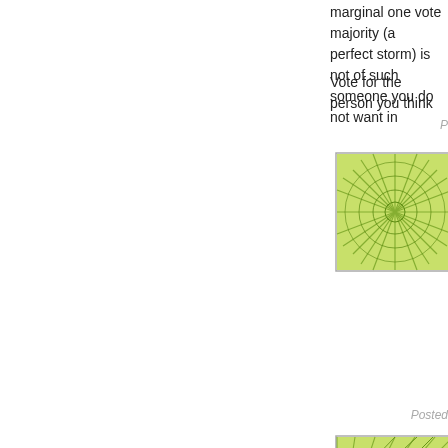marginal one vote majority (a perfect storm) is not of such someone you do not want in
Vote for the person you think
[Figure (illustration): Green decorative avatar icon with starburst/geometric pattern]
"it seems like a bizarre, if not ideologically"
Not to mention rather Mobyis economy killing Death Progs Thinking that Delaware will s imagination than I possess. I' be a plus for the Reps but I d triangulation to "success" in ' compromise.
Posted
[Figure (illustration): Green decorative avatar icon with fan/sector geometric pattern]
how, precisely, does that squ Senate?
Arlen Specter, James Webb